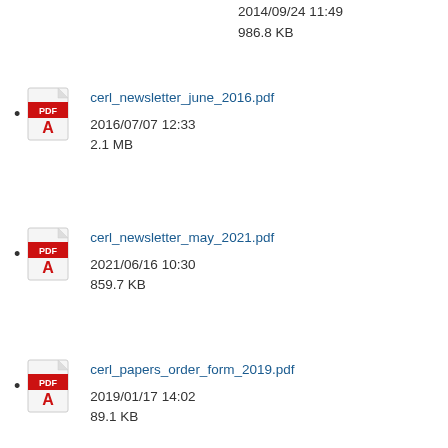2014/09/24 11:49
986.8 KB
cerl_newsletter_june_2016.pdf
2016/07/07 12:33
2.1 MB
cerl_newsletter_may_2021.pdf
2021/06/16 10:30
859.7 KB
cerl_papers_order_form_2019.pdf
2019/01/17 14:02
89.1 KB
[Figure (illustration): Thumbnail preview of a document with text and tree image]